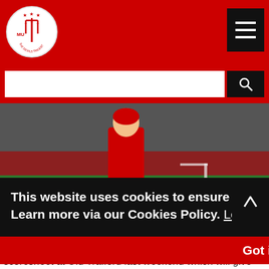The Devils Trident logo and site header with hamburger menu
[Figure (screenshot): Website header bar: red background with circular club logo on left and black hamburger menu button on right]
[Figure (photo): Manchester United player in red kit dribbling with a football on pitch, taken at night game with crowd in background]
This website uses cookies to ensure you get the best experience on our website. Learn more via our Cookies Policy. Learn more
Got it!
scoresheet at Old Trafford last weekend which will give